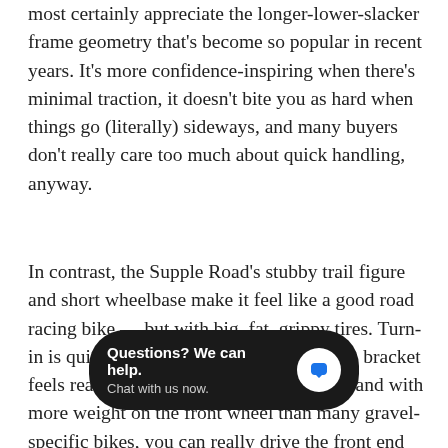most certainly appreciate the longer-lower-slacker frame geometry that's become so popular in recent years. It's more confidence-inspiring when there's minimal traction, it doesn't bite you as hard when things go (literally) sideways, and many buyers don't really care too much about quick handling, anyway.
In contrast, the Supple Road's stubby trail figure and short wheelbase make it feel like a good road racing bike — but with big, fat, grippy tires. Turn-in is quick and responsive, the low bottom bracket feels reassuringly stable at higher speeds, and with more weight on the front wheel than many gravel-specific bikes, you can really drive the front end through paved corners — at least when it's dry. I unfort[…]of the Rene Herse tires t[…], and when they let go, they do so quickly (to the point where I
[Figure (other): Chat widget overlay: dark rounded rectangle with text 'Questions? We can help.' and 'Chat with us now.' and a blue speech bubble icon on a white circle.]